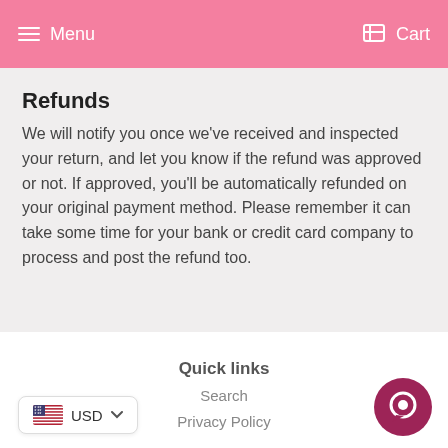Menu   Cart
Refunds
We will notify you once we've received and inspected your return, and let you know if the refund was approved or not. If approved, you'll be automatically refunded on your original payment method. Please remember it can take some time for your bank or credit card company to process and post the refund too.
USD
Quick links
Search
Privacy Policy